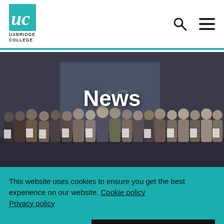Uxbridge College
[Figure (photo): Group of students and staff standing on a stage holding certificates at an awards ceremony, with the Uxbridge College logo projected on a screen behind them. The word 'News' is overlaid in white bold text in the center of the image.]
This website uses cookies to ensure you get the best experience on our website. Cookie policy Privacy policy
DECLINE
ALLOW COOKIES